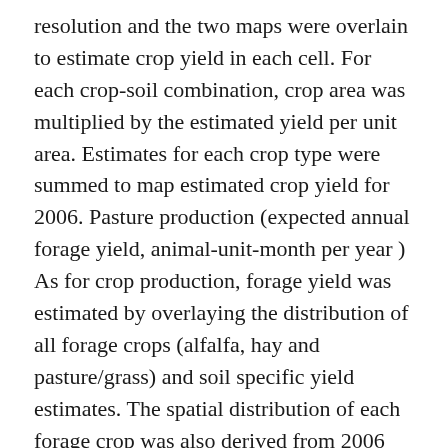resolution and the two maps were overlain to estimate crop yield in each cell. For each crop-soil combination, crop area was multiplied by the estimated yield per unit area. Estimates for each crop type were summed to map estimated crop yield for 2006. Pasture production (expected annual forage yield, animal-unit-month per year ) As for crop production, forage yield was estimated by overlaying the distribution of all forage crops (alfalfa, hay and pasture/grass) and soil specific yield estimates. The spatial distribution of each forage crop was also derived from 2006 CDL, and rescaled to 30 m grid prior to calculation. The SSURGO soil productivity layer provided estimates of potential annual yield per unit area for each forage crop. Overlay analyses were performed for each forage-soil combination, as done for crops, and summed to obtain the total expected forage yield in the watershed for 2006. Freshwater supply (annual groundwater recharge, cm per year) . Groundwater recharge was quantified and mapped using the modified Thornthwaite Mather